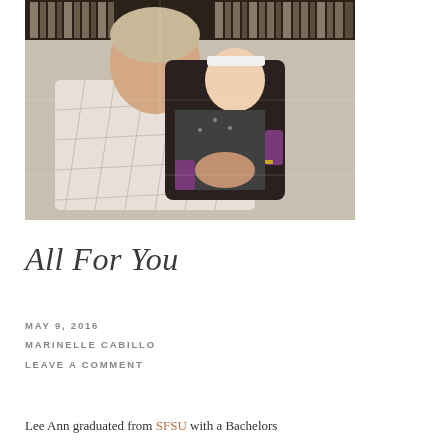[Figure (photo): A man in a white checkered shirt holding a baby dressed in dark clothing with a white headband. Bookshelves visible in the background.]
All For You
MAY 9, 2016
MARINELLE CABILLO
LEAVE A COMMENT
Lee Ann graduated from SFSU with a Bachelors